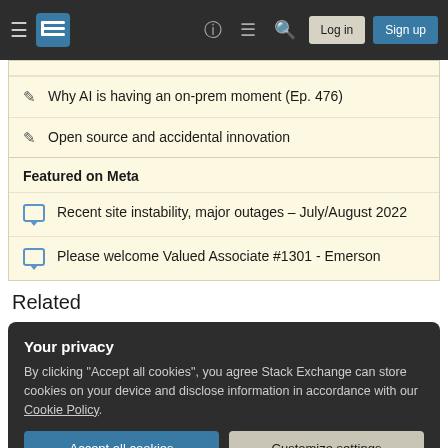Stack Exchange navigation bar with hamburger menu, logo, help, chat, search icons, Log in and Sign up buttons
Why AI is having an on-prem moment (Ep. 476)
Open source and accidental innovation
Featured on Meta
Recent site instability, major outages – July/August 2022
Please welcome Valued Associate #1301 - Emerson
Related
Your privacy
By clicking "Accept all cookies", you agree Stack Exchange can store cookies on your device and disclose information in accordance with our Cookie Policy.
Accept all cookies   Customize settings
3   Network interfaces up order, ipv6 tunnel problem